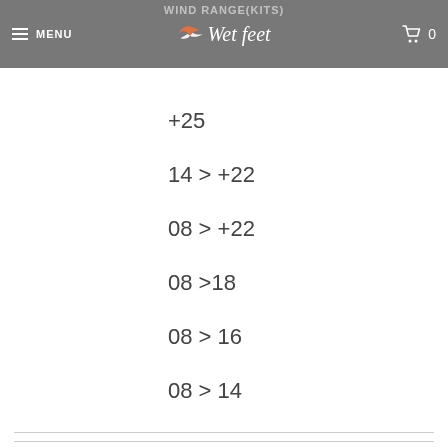WIND RANGE(KITS) — Wet feet — MENU — 0
+25
14 > +22
08 > +22
08 >18
08 > 16
08 > 14
Type: Kiteboarding
SHARE